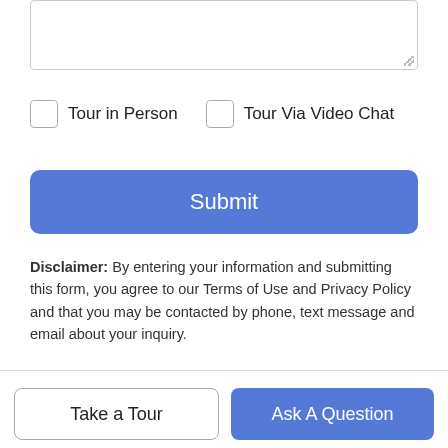[Figure (screenshot): Textarea input box (partially visible, cut off at top)]
Tour in Person
Tour Via Video Chat
Submit
Disclaimer: By entering your information and submitting this form, you agree to our Terms of Use and Privacy Policy and that you may be contacted by phone, text message and email about your inquiry.
Based on information from CRISNet MLS as of 2022-08-20T23:42:54.567. All data, including all measurements and calculations of area, is obtained from various sources and has not been, and will not be, verified by broker or MLS. All information should be independently reviewed and verified for accuracy. Properties may or may not be listed by the office/agent presenting the information. The listing broker's offer of compensation is made
Take a Tour
Ask A Question